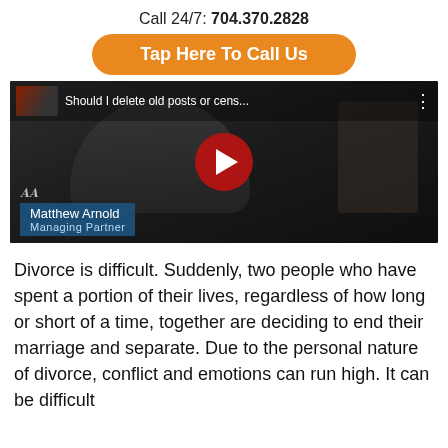Call 24/7: 704.370.2828
Tap Here To Call Us
[Figure (screenshot): YouTube video thumbnail showing Matthew Arnold, Managing Partner, with title 'Should I delete old posts or cens...' and a red play button overlay.]
Divorce is difficult. Suddenly, two people who have spent a portion of their lives, regardless of how long or short of a time, together are deciding to end their marriage and separate. Due to the personal nature of divorce, conflict and emotions can run high. It can be difficult